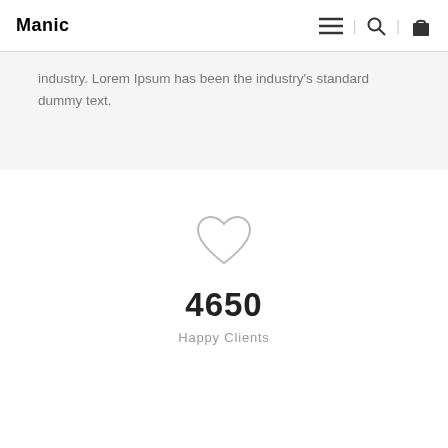Manic
industry. Lorem Ipsum has been the industry's standard dummy text.
[Figure (illustration): Heart / love icon outline, light gray, centered above stat counter]
4650
Happy Clients